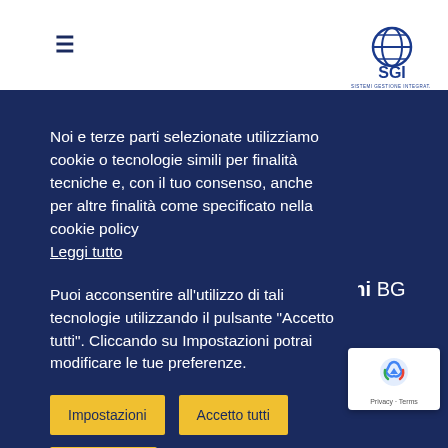[Figure (logo): SGI - Sistemi Gestione Integrata logo with blue globe icon and text]
Noi e terze parti selezionate utilizziamo cookie o tecnologie simili per finalità tecniche e, con il tuo consenso, anche per altre finalità come specificato nella cookie policy Leggi tutto
Puoi acconsentire all'utilizzo di tali tecnologie utilizzando il pulsante "Accetto tutti". Cliccando su Impostazioni potrai modificare le tue preferenze.
Impostazioni
Accetto tutti
Rifiuto tutto
anni BG
nato.
[Figure (logo): reCAPTCHA badge with Privacy and Terms links]